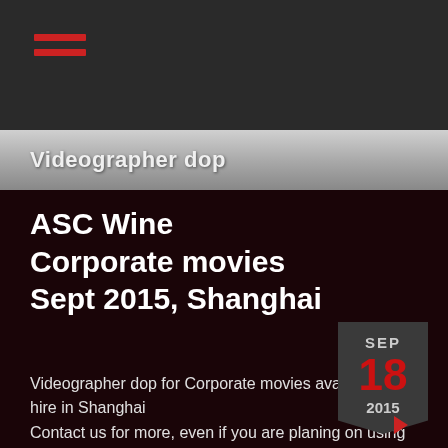Videographer dop
ASC Wine
Corporate movies
Sept 2015, Shanghai
Videographer dop for Corporate movies available to hire in Shanghai
Contact us for more, even if you are planing on using just a simple DSLR, we got it all ready for you.
SEP 18 2015